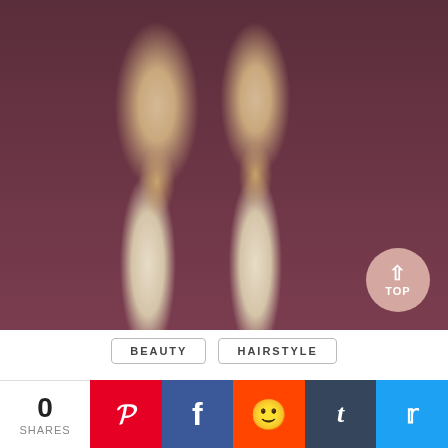[Figure (photo): Back view of a person wearing a dark maroon long-sleeve top with two bubble braid pigtails made of blonde hair, each section tied with small elastic bands creating a bubble/diamond shape, hanging down the back.]
BEAUTY
HAIRSTYLE
33 Chic Ways to Wear Bubble Braid
0 SHARES
Pinterest share button
Facebook share button
Reddit share button
Tumblr share button
Twitter share button